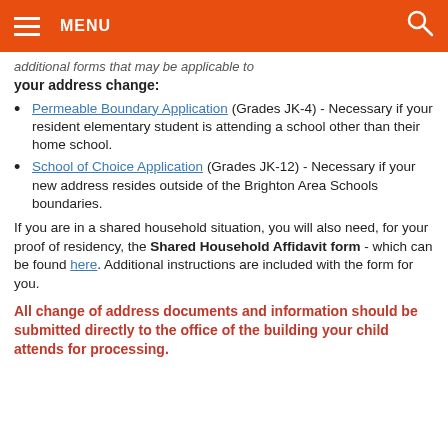MENU
additional forms that may be applicable to your address change:
Permeable Boundary Application (Grades JK-4) - Necessary if your resident elementary student is attending a school other than their home school.
School of Choice Application (Grades JK-12) - Necessary if your new address resides outside of the Brighton Area Schools boundaries.
If you are in a shared household situation, you will also need, for your proof of residency, the Shared Household Affidavit form - which can be found here. Additional instructions are included with the form for you.
All change of address documents and information should be submitted directly to the office of the building your child attends for processing.